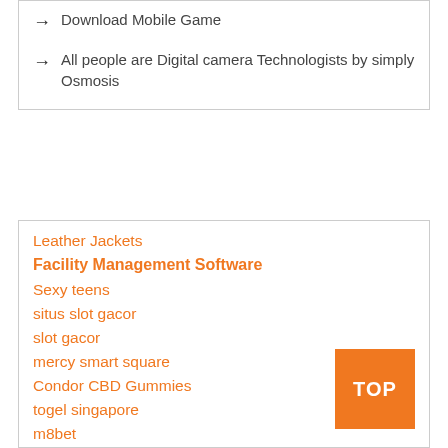→  Download Mobile Game
→  All people are Digital camera Technologists by simply Osmosis
Leather Jackets
Facility Management Software
Sexy teens
situs slot gacor
slot gacor
mercy smart square
Condor CBD Gummies
togel singapore
m8bet
Singapore Online Casino
SGP Hari Ini
maniaslot
pragmatic play